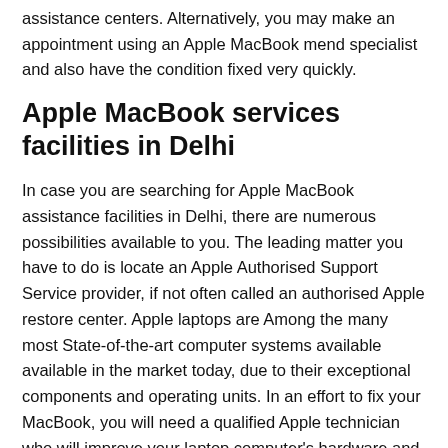assistance centers. Alternatively, you may make an appointment using an Apple MacBook mend specialist and also have the condition fixed very quickly.
Apple MacBook services facilities in Delhi
In case you are searching for Apple MacBook assistance facilities in Delhi, there are numerous possibilities available to you. The leading matter you have to do is locate an Apple Authorised Support Service provider, if not often called an authorised Apple restore center. Apple laptops are Among the many most State-of-the-art computer systems available available in the market today, due to their exceptional components and operating units. In an effort to fix your MacBook, you will need a qualified Apple technician who will improve your laptop computer's hardware and application. In case your MacBook is damaged, it's best to choose it to an Apple Authorised Support Centre in Delhi.